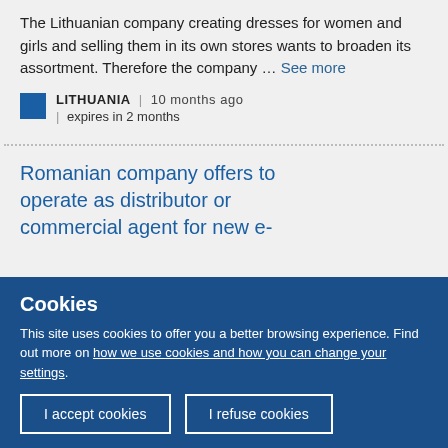The Lithuanian company creating dresses for women and girls and selling them in its own stores wants to broaden its assortment. Therefore the company … See more
LITHUANIA | 10 months ago | expires in 2 months
Romanian company offers to operate as distributor or commercial agent for new e-
Cookies
This site uses cookies to offer you a better browsing experience. Find out more on how we use cookies and how you can change your settings.
I accept cookies  I refuse cookies